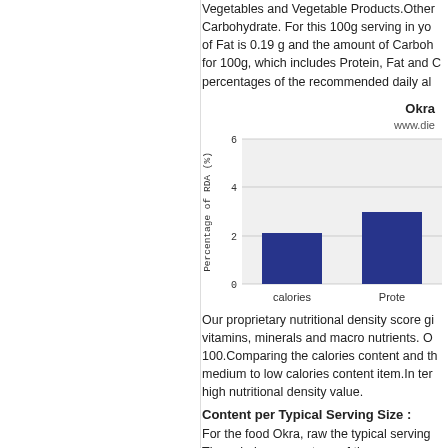Vegetables and Vegetable Products.Other Carbohydrate. For this 100g serving in yo of Fat is 0.19 g and the amount of Carboh for 100g, which includes Protein, Fat and C percentages of the recommended daily al
[Figure (bar-chart): Okra]
Our proprietary nutritional density score gi vitamins, minerals and macro nutrients. O 100.Comparing the calories content and th medium to low calories content item.In ter high nutritional density value.
Content per Typical Serving Size :
For the food Okra, raw the typical serving The calories percentage of the recommen
To give 100% of the RDA, 50.0 servings o RDA. In terms of the gram weight and tot